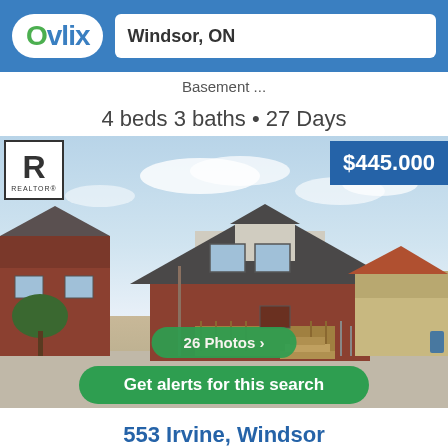Ovlix | Windsor, ON
Basement ...
4 beds 3 baths • 27 Days
[Figure (photo): Exterior photo of a brick and siding house at 553 Irvine, Windsor with REALTOR logo badge, priced at $445,000]
26 Photos ›
Get alerts for this search
553 Irvine, Windsor